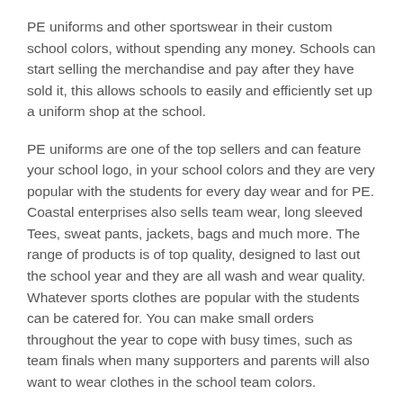PE uniforms and other sportswear in their custom school colors, without spending any money. Schools can start selling the merchandise and pay after they have sold it, this allows schools to easily and efficiently set up a uniform shop at the school.
PE uniforms are one of the top sellers and can feature your school logo, in your school colors and they are very popular with the students for every day wear and for PE. Coastal enterprises also sells team wear, long sleeved Tees, sweat pants, jackets, bags and much more. The range of products is of top quality, designed to last out the school year and they are all wash and wear quality. Whatever sports clothes are popular with the students can be catered for. You can make small orders throughout the year to cope with busy times, such as team finals when many supporters and parents will also want to wear clothes in the school team colors.